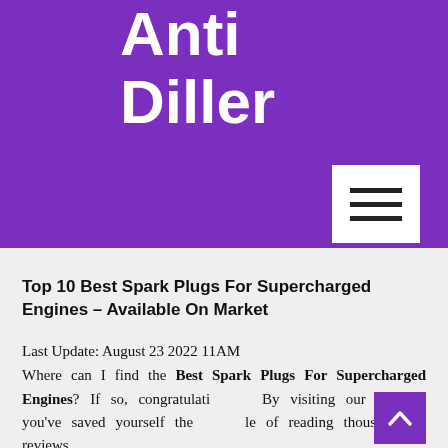Anti Diller
Get the Right Product from Recommendations
Top 10 Best Spark Plugs For Supercharged Engines – Available On Market
Last Update: August 23 2022 11AM
Where can I find the Best Spark Plugs For Supercharged Engines? If so, congratulations! By visiting our website, you've saved yourself the trouble of reading thousands of reviews.